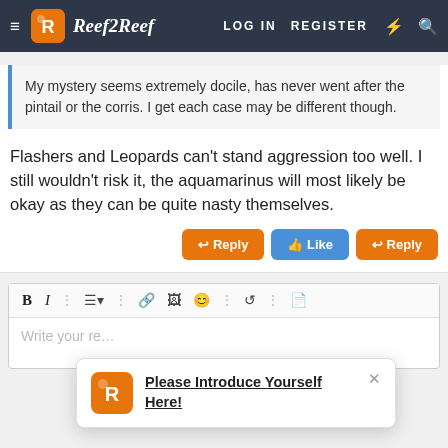Reef2Reef — LOG IN   REGISTER
My mystery seems extremely docile, has never went after the pintail or the corris. I get each case may be different though.
Flashers and Leopards can't stand aggression too well. I still wouldn't risk it, the aquamarinus will most likely be okay as they can be quite nasty themselves.
Reply  Like  Reply
Write your re…
Please Introduce Yourself Here!